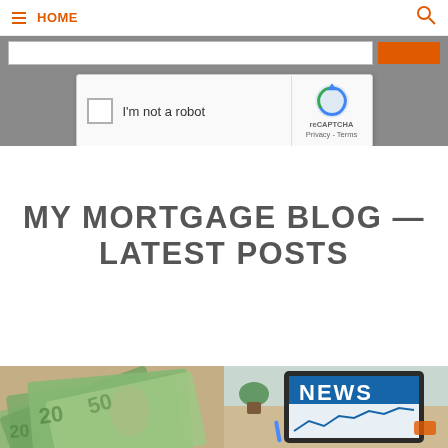HOME
[Figure (screenshot): reCAPTCHA widget with checkbox labeled I'm not a robot, Google reCAPTCHA branding with Privacy and Terms links]
MY MORTGAGE BLOG — LATEST POSTS
[Figure (photo): Canadian currency bills spread out]
[Figure (photo): Tablet showing NEWS website with office supplies on desk]